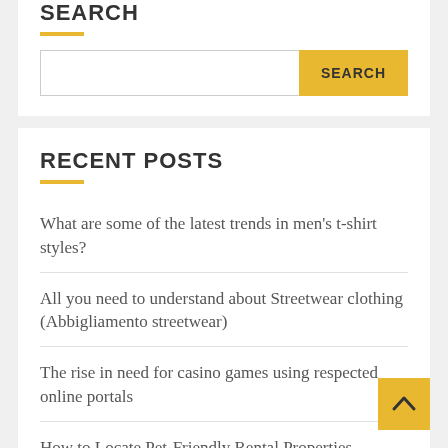SEARCH
SEARCH (button)
RECENT POSTS
What are some of the latest trends in men’s t-shirt styles?
All you need to understand about Streetwear clothing (Abbigliamento streetwear)
The rise in need for casino games using respected online portals
How to Locate Pet-Friendly Rental Properties